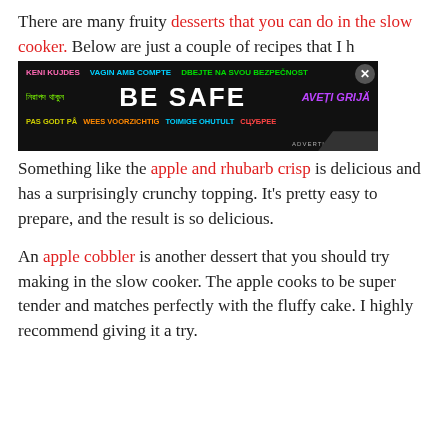There are many fruity desserts that you can do in the slow cooker. Below are just a couple of recipes that I h...
[Figure (other): Advertisement banner with multilingual 'BE SAFE' text in multiple colors on dark background with a close button]
Something like the apple and rhubarb crisp is delicious and has a surprisingly crunchy topping. It's pretty easy to prepare, and the result is so delicious.
An apple cobbler is another dessert that you should try making in the slow cooker. The apple cooks to be super tender and matches perfectly with the fluffy cake. I highly recommend giving it a try.